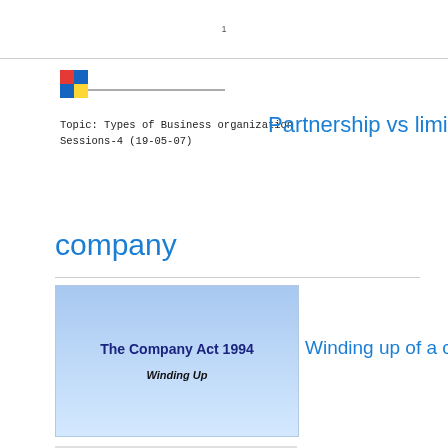1
[Figure (logo): Colorful windmill/pinwheel logo with red and yellow quadrants and blue cross shape, with a horizontal line extending right]
Topic: Types of Business organization
Sessions-4 (19-05-07)
Partnership vs limited
company
[Figure (screenshot): Slide with blue gradient background showing 'The Company Act 1994' and 'Winding Up' subtitle text]
Winding up of a company